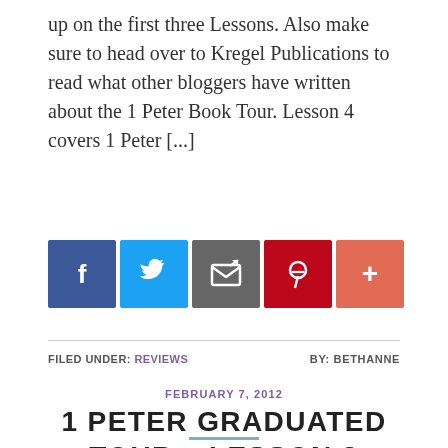up on the first three Lessons. Also make sure to head over to Kregel Publications to read what other bloggers have written about the 1 Peter Book Tour. Lesson 4 covers 1 Peter [...]
[Figure (infographic): Social sharing buttons: Facebook (blue), Twitter (light blue), Email/share (gray), Pinterest (red), More/plus (orange-red)]
FILED UNDER: REVIEWS   BY: BETHANNE
FEBRUARY 7, 2012
1 PETER GRADUATED TOUR – LESSON 3